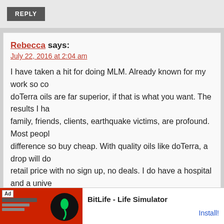REPLY
Rebecca says:
July 22, 2016 at 2:04 am
I have taken a hit for doing MLM. Already known for my work so co doTerra oils are far superior, if that is what you want. The results I ha family, friends, clients, earthquake victims, are profound. Most peopl difference so buy cheap. With quality oils like doTerra, a drop will do retail price with no sign up, no deals. I do have a hospital and a unive se doTerra. The university did studies on several oils and aly doTer capabilities. There are good studies out there but hey. Not an mlm fan retail and worth the price. So how DO you monetize your blog?
REPLY
Cricket says:
[Figure (screenshot): BitLife - Life Simulator advertisement banner at the bottom of the page showing a red background with an 'Ad' label and a pill/sperm icon logo, and text 'BitLife - Life Simulator' with an 'Install!' link]